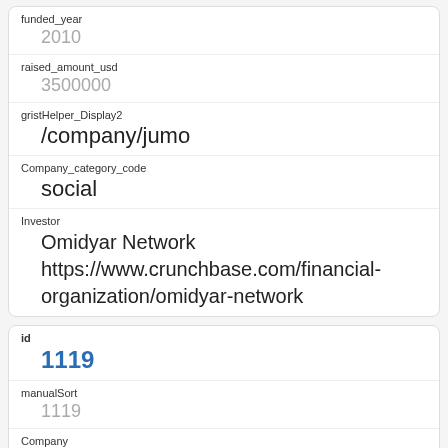| Field | Value |
| --- | --- |
| funded_year | 2010 |
| raised_amount_usd | 3500000 |
| gristHelper_Display2 | /company/jumo |
| Company_category_code | social |
| Investor | Omidyar Network
https://www.crunchbase.com/financial-organization/omidyar-network |
| Field | Value |
| --- | --- |
| id | 1119 |
| manualSort | 1119 |
| Company | 313 |
| investor_permalink |  |